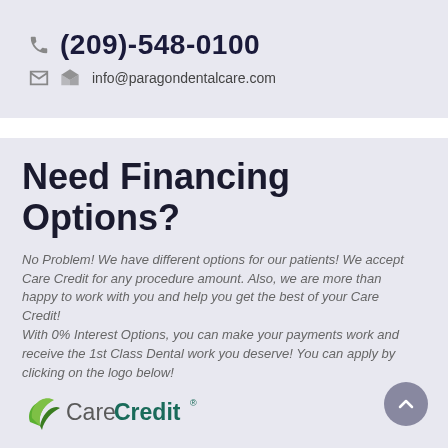(209)-548-0100
info@paragondentalcare.com
Need Financing Options?
No Problem! We have different options for our patients! We accept Care Credit for any procedure amount. Also, we are more than happy to work with you and help you get the best of your Care Credit!
With 0% Interest Options, you can make your payments work and receive the 1st Class Dental work you deserve! You can apply by clicking on the logo below!
[Figure (logo): CareCredit logo with green leaf icon and teal/dark green text]